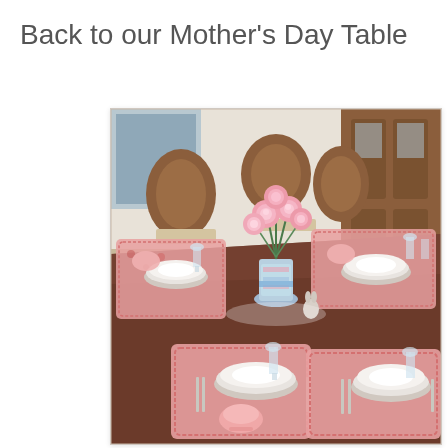Back to our Mother's Day Table
[Figure (photo): A beautifully set Mother's Day dining table with a dark wood table, floral pink placemats, white china plates, crystal glasses, silver flatware, pink linen napkins tied with ribbon, and a centerpiece of pink roses and greenery in a decorative vase. Multiple place settings are visible with traditional wooden dining chairs in the background.]